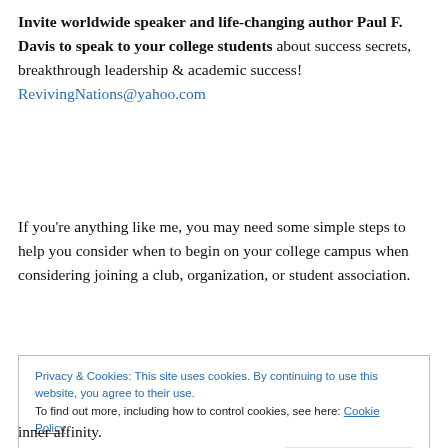Invite worldwide speaker and life-changing author Paul F. Davis to speak to your college students about success secrets, breakthrough leadership & academic success! RevivingNations@yahoo.com
If you're anything like me, you may need some simple steps to help you consider when to begin on your college campus when considering joining a club, organization, or student association.
Privacy & Cookies: This site uses cookies. By continuing to use this website, you agree to their use. To find out more, including how to control cookies, see here: Cookie Policy
inner affinity.